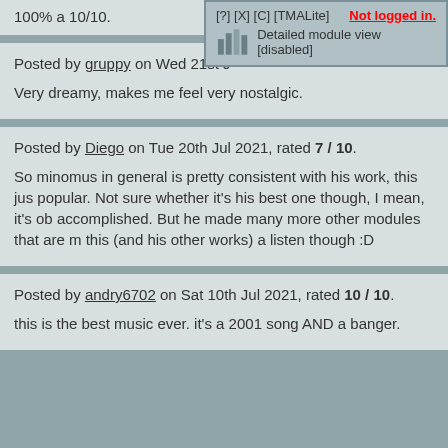100% a 10/10.
Posted by gruppy on Wed 21st J
[Figure (other): Overlay widget showing [?] [X] [C] [TMALite] navigation links, Not logged in. text in red, a mini bar chart icon, and Detailed module view [disabled] text]
Very dreamy, makes me feel very nostalgic.
Posted by Diego on Tue 20th Jul 2021, rated 7 / 10.
So minomus in general is pretty consistent with his work, this jus popular. Not sure whether it's his best one though, I mean, it's ob accomplished. But he made many more other modules that are m this (and his other works) a listen though :D
Posted by andry6702 on Sat 10th Jul 2021, rated 10 / 10.
this is the best music ever. it's a 2001 song AND a banger.